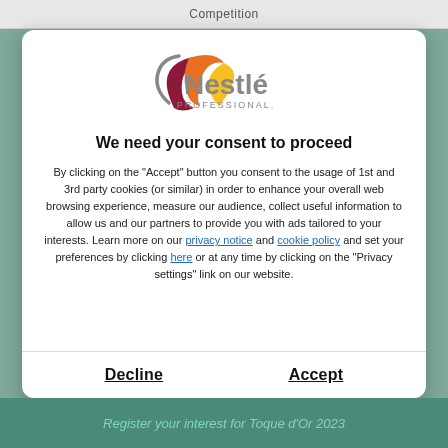Competition
[Figure (logo): Nestlé Professional logo with colorful arc swoosh graphic]
We need your consent to proceed
By clicking on the "Accept" button you consent to the usage of 1st and 3rd party cookies (or similar) in order to enhance your overall web browsing experience, measure our audience, collect useful information to allow us and our partners to provide you with ads tailored to your interests. Learn more on our privacy notice and cookie policy and set your preferences by clicking here or at any time by clicking on the "Privacy settings" link on our website.
Decline
Accept
Register your interest for Toque d'Or 2023